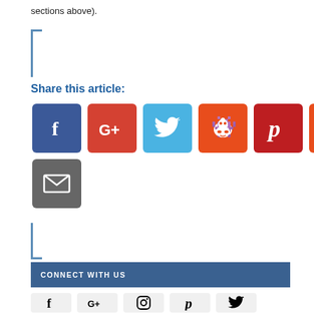sections above).
Share this article:
[Figure (infographic): Row of social share buttons: Facebook (blue), Google+ (red), Twitter (blue), Reddit (orange), Pinterest (dark red), StumbleUpon (orange-red), and Email (gray)]
CONNECT WITH US
[Figure (infographic): Row of social media icons on gray background: Facebook, Google+, Instagram, Pinterest, Twitter]